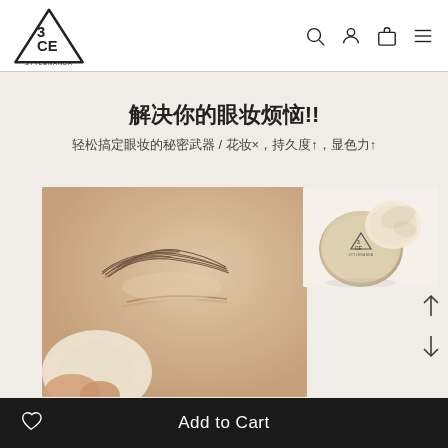[Figure (logo): 3CE STYLENANDA triangle logo]
[Figure (screenshot): Navigation bar icons: search, account, bag, menu]
解决你的眼妆烦恼!!
轻松搞定眼妆的秘密武器 / 花妆×，持久度↑，显色力↑
[Figure (photo): Close-up of a model's eye area, applying loose powder with a puff under the eye]
[Figure (photo): 3CE STYLENANDA compact loose powder product with puff, cream/beige color]
Add to Cart